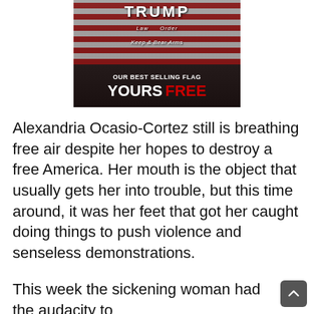[Figure (illustration): Advertisement image showing a Trump-themed flag with 'Law Order And the Right to Keep & Bear Arms' text, with overlay text reading 'OUR BEST SELLING FLAG YOURS FREE']
Alexandria Ocasio-Cortez still is breathing free air despite her hopes to destroy a free America. Her mouth is the object that usually gets her into trouble, but this time around, it was her feet that got her caught doing things to push violence and senseless demonstrations.
This week the sickening woman had the audacity to